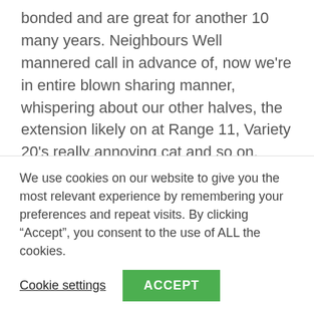bonded and are great for another 10 many years. Neighbours Well mannered call in advance of, now we're in entire blown sharing manner, whispering about our other halves, the extension likely on at Range 11, Variety 20's really annoying cat and so on. Isolation has produced us fewer isolated. The pointless things purge Will we at any time again buy a spiraliser-form gadget of the month, a novelty soap dish, a cashmere wrist-hotter, a charming Moroccan teapot? Because the first weekend of lockdown we have been on a mission
We use cookies on our website to give you the most relevant experience by remembering your preferences and repeat visits. By clicking “Accept”, you consent to the use of ALL the cookies.
Cookie settings
ACCEPT